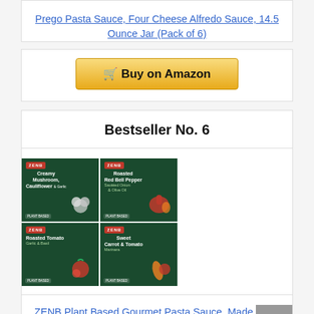Prego Pasta Sauce, Four Cheese Alfredo Sauce, 14.5 Ounce Jar (Pack of 6)
[Figure (other): Buy on Amazon button with cart icon]
Bestseller No. 6
[Figure (photo): ZENB Plant Based Gourmet Pasta Sauce 4-pack product image showing four green boxes: Creamy Mushroom Cauliflower & Garlic, Roasted Red Bell Pepper, Roasted Tomato Garlic & Basil, Sweet Carrot & Tomato Marinara]
ZENB Plant Based Gourmet Pasta Sauce, Made From 100% Whole Veggies, Dairy Free,